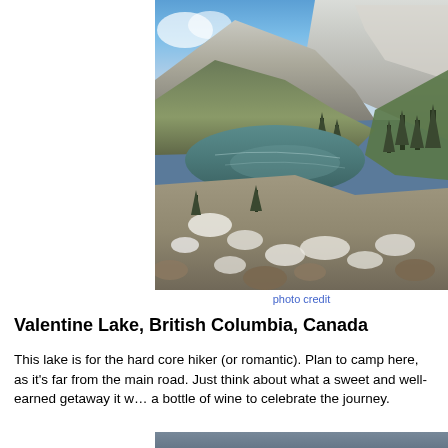[Figure (photo): Mountain alpine lake (Valentine Lake) surrounded by rocky peaks, conifer trees, and rocky terrain in British Columbia, Canada. Blue sky above, greenish-blue lake in the middle of the scene.]
photo credit
Valentine Lake, British Columbia, Canada
This lake is for the hard core hiker (or romantic). Plan to camp here, as it's far from the main road. Just think about what a sweet and well-earned getaway it w... a bottle of wine to celebrate the journey.
[Figure (photo): Bottom portion of another outdoor/nature photo, partially visible at bottom of page.]